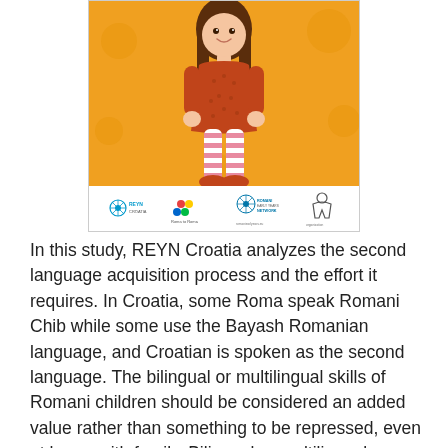[Figure (illustration): Illustration of a cartoon girl with dark hair wearing an orange dress and pink striped stockings with orange shoes, standing against an orange background. Bottom strip shows logos: REYN Croatia, Roma to Roma, Romani Early Years Network, and another organization logo.]
In this study, REYN Croatia analyzes the second language acquisition process and the effort it requires. In Croatia, some Roma speak Romani Chib while some use the Bayash Romanian language, and Croatian is spoken as the second language. The bilingual or multilingual skills of Romani children should be considered an added value rather than something to be repressed, even at home with family. Bilingual or multilingual children are often better at mastering new languages. Teachers should consider the effort made by Romani children in following classes led in Croatian and they should help them by teaching in an